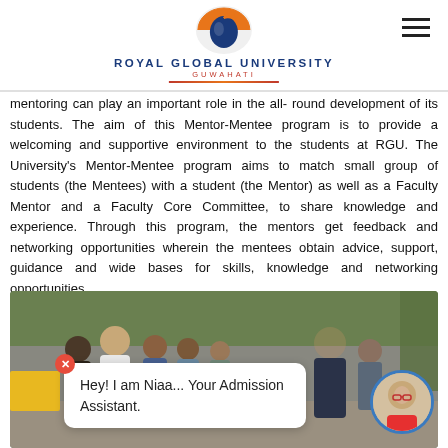[Figure (logo): Royal Global University Guwahati logo with orange and blue emblem]
mentoring can play an important role in the all-round development of its students. The aim of this Mentor-Mentee program is to provide a welcoming and supportive environment to the students at RGU. The University's Mentor-Mentee program aims to match small group of students (the Mentees) with a student (the Mentor) as well as a Faculty Mentor and a Faculty Core Committee, to share knowledge and experience. Through this program, the mentors get feedback and networking opportunities wherein the mentees obtain advice, support, guidance and wide bases for skills, knowledge and networking opportunities.
[Figure (photo): Group of students and faculty member talking outdoors on a campus with trees in background. Chat bubble overlay reads: Hey! I am Niaa... Your Admission Assistant.]